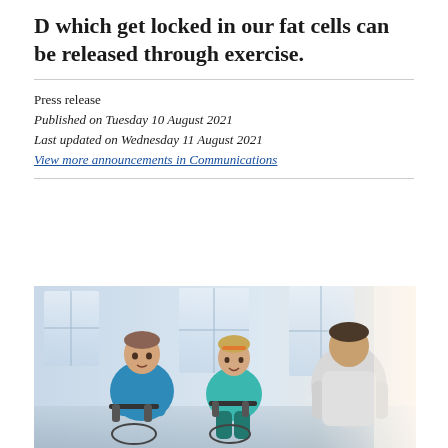D which get locked in our fat cells can be released through exercise.
Press release
Published on Tuesday 10 August 2021
Last updated on Wednesday 11 August 2021
View more announcements in Communications
[Figure (photo): Two people (a man in a blue t-shirt and a woman in a teal top) riding stationary exercise bikes in a gym, speaking with a trainer in a white t-shirt who stands facing them. Large bright windows are visible in the background.]